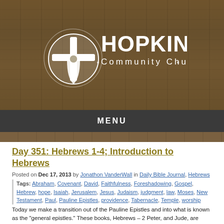[Figure (logo): Hopkins Community Church logo — white cross/shield icon with 'HOPKINS' in large white text and 'Community Church' below, on a wood-grain background]
MENU
Day 351: Hebrews 1-4; Introduction to Hebrews
Posted on Dec 17, 2013 by Jonathon VanderWall in Daily Bible Journal, Hebrews
Tags: Abraham, Covenant, David, Faithfulness, Foreshadowing, Gospel, Hebrew, hope, Isaiah, Jerusalem, Jesus, Judaism, judgment, law, Moses, New Testament, Paul, Pauline Epistles, providence, Tabernacle, Temple, worship
Today we make a transition out of the Pauline Epistles and into what is known as the "general epistles." These books, Hebrews – 2 Peter, and Jude, are books that are written not to a specific church or person, but rather to the general audience of the Church throughout the Roman empire as it continued to grow.